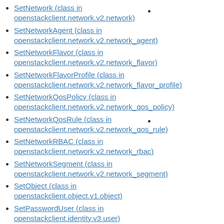SetNetwork (class in openstackclient.network.v2.network)
SetNetworkAgent (class in openstackclient.network.v2.network_agent)
SetNetworkFlavor (class in openstackclient.network.v2.network_flavor)
SetNetworkFlavorProfile (class in openstackclient.network.v2.network_flavor_profile)
SetNetworkQosPolicy (class in openstackclient.network.v2.network_qos_policy)
SetNetworkQosRule (class in openstackclient.network.v2.network_qos_rule)
SetNetworkRBAC (class in openstackclient.network.v2.network_rbac)
SetNetworkSegment (class in openstackclient.network.v2.network_segment)
SetObject (class in openstackclient.object.v1.object)
SetPasswordUser (class in openstackclient.identity.v3.user)
SetPolicy (class in openstackclient.identity.v3.policy)
SetPort (class in openstackclient.network.v2.port)
SetProject (class in openstackclient.identity.v2_0.project)
(class in openstackclient.identity.v3.project)